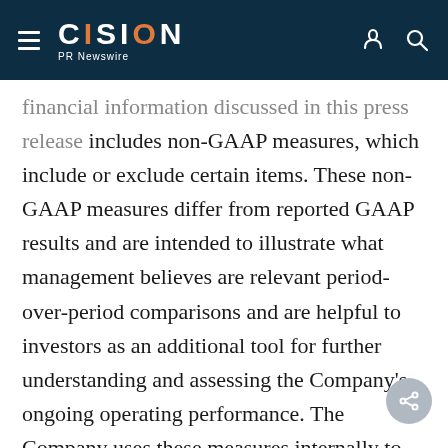CISION PR Newswire
financial information discussed in this press release includes non-GAAP measures, which include or exclude certain items. These non-GAAP measures differ from reported GAAP results and are intended to illustrate what management believes are relevant period-over-period comparisons and are helpful to investors as an additional tool for further understanding and assessing the Company's ongoing operating performance. The Company uses these measures internally to assess its operating performance, both absolutely and in comparison to other companies, and to make day to day operating decisions, including in the evaluation of selected compensation decisions. Exclusion of items in the